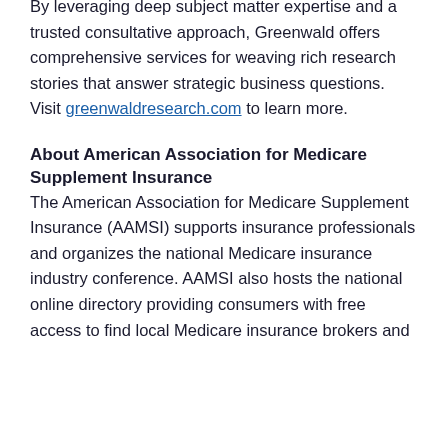By leveraging deep subject matter expertise and a trusted consultative approach, Greenwald offers comprehensive services for weaving rich research stories that answer strategic business questions. Visit greenwaldresearch.com to learn more.
About American Association for Medicare Supplement Insurance
The American Association for Medicare Supplement Insurance (AAMSI) supports insurance professionals and organizes the national Medicare insurance industry conference. AAMSI also hosts the national online directory providing consumers with free access to find local Medicare insurance brokers and